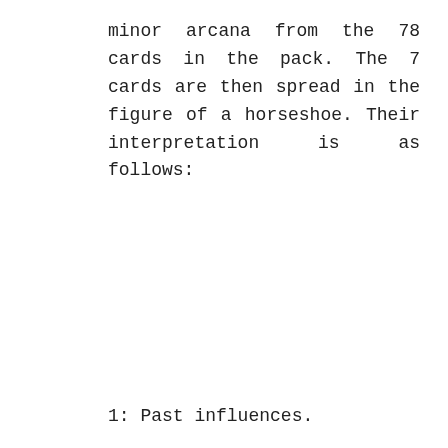minor arcana from the 78 cards in the pack. The 7 cards are then spread in the figure of a horseshoe. Their interpretation is as follows:
1: Past influences.